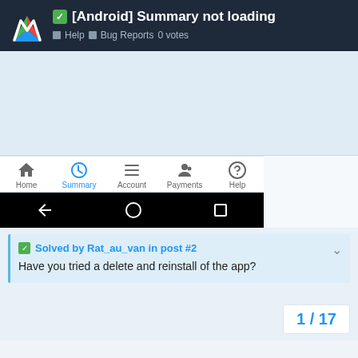[Android] Summary not loading — Help | Bug Reports 0 votes
[Figure (screenshot): Android app screenshot showing a navigation bar with Home, Summary (active/highlighted in blue), Account, Payments, Help icons, and an Android system navigation bar below with back, home, and recents buttons on a black background. Above is a blank light blue area.]
✓ Solved by Rat_au_van in post #2
Have you tried a delete and reinstall of the app?
1 / 17